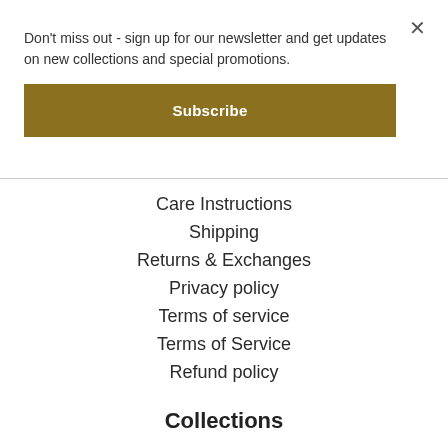Don't miss out - sign up for our newsletter and get updates on new collections and special promotions.
Subscribe
Care Instructions
Shipping
Returns & Exchanges
Privacy policy
Terms of service
Terms of Service
Refund policy
Collections